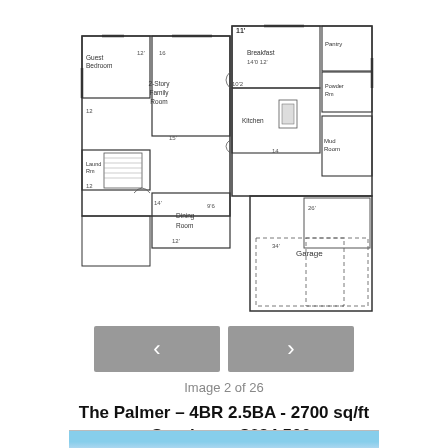[Figure (engineering-diagram): Floor plan blueprint of 'The Palmer' home showing rooms including Guest Bedroom, 2-Story Family Room, Breakfast area, Pantry, Kitchen, Mud Room, Dining Room, Garage with dimensions labeled throughout]
< >
Image 2 of 26
The Palmer – 4BR 2.5BA - 2700 sq/ft – Starting at $634,500
[Figure (photo): Partial view of sky with clouds at bottom of page]